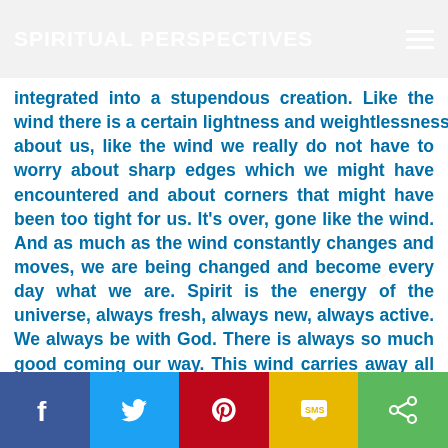SPIRITUAL PERSPECTIVES
integrated into a stupendous creation. Like the wind there is a certain lightness and weightlessness about us, like the wind we really do not have to worry about sharp edges which we might have encountered and about corners that might have been too tight for us. It's over, gone like the wind. And as much as the wind constantly changes and moves, we are being changed and become every day what we are. Spirit is the energy of the universe, always fresh, always new, always active. We always be with God. There is always so much good coming our way. This wind carries away all “chaff thoughts” of sadness, embarrassment, shame, and resentment. We are so willing to let the Spirit move us and to be who we are. Let us leave a
[Figure (infographic): Social share bar with Facebook (blue), Twitter (light blue), Pinterest (red), SMS (yellow), and Share (green) icons]